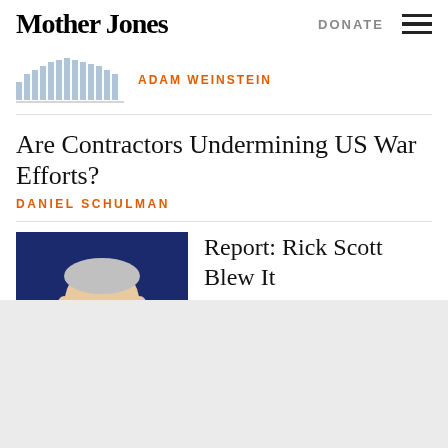Mother Jones
DONATE
ADAM WEINSTEIN
Are Contractors Undermining US War Efforts?
DANIEL SCHULMAN
[Figure (photo): Photo of Rick Scott speaking at a podium in a dark suit with red tie against a blue background]
Report: Rick Scott Blew It
RUSS CHOMA